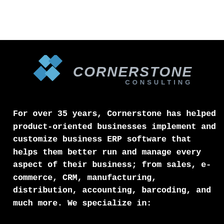[Figure (logo): Cornerstone Consulting logo: a blue diamond/rhombus made of four blue squares on the left, and the text CORNERSTONE in large bold italic gray letters with CONSULTING in smaller spaced gray letters below on the right.]
For over 35 years, Cornerstone has helped product-oriented businesses implement and customize business ERP software that helps them better run and manage every aspect of their business; from sales, e-commerce, CRM, manufacturing, distribution, accounting, barcoding, and much more. We specialize in: